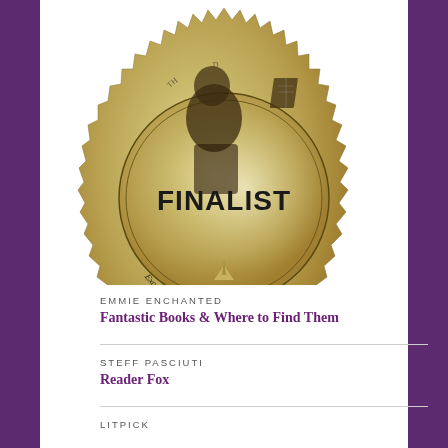[Figure (illustration): Gold medallion seal with serrated edge showing a figure (Darwin-like portrait) and a book, with text 'FINALIST' in bold and 'Excellence in Independent Publishing' curved along the bottom edge]
EMMIE ENCHANTED
Fantastic Books & Where to Find Them
STEFF PASCIUTI
Reader Fox
LITPICK